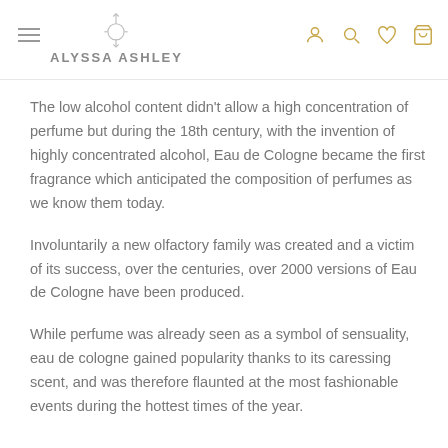ALYSSA ASHLEY
The low alcohol content didn't allow a high concentration of perfume but during the 18th century, with the invention of highly concentrated alcohol, Eau de Cologne became the first fragrance which anticipated the composition of perfumes as we know them today.
Involuntarily a new olfactory family was created and a victim of its success, over the centuries, over 2000 versions of Eau de Cologne have been produced.
While perfume was already seen as a symbol of sensuality, eau de cologne gained popularity thanks to its caressing scent, and was therefore flaunted at the most fashionable events during the hottest times of the year.